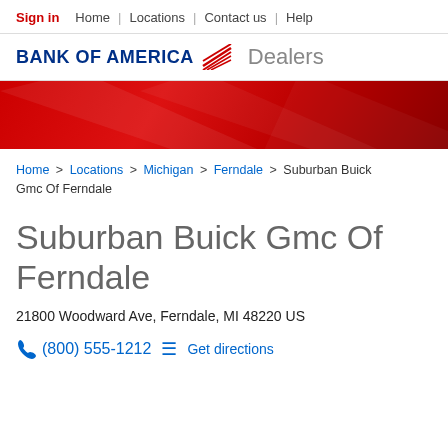Sign in | Home | Locations | Contact us | Help
[Figure (logo): Bank of America Dealers logo with flag icon]
[Figure (illustration): Red decorative banner with diagonal geometric pattern]
Home > Locations > Michigan > Ferndale > Suburban Buick Gmc Of Ferndale
Suburban Buick Gmc Of Ferndale
21800 Woodward Ave, Ferndale, MI 48220 US
(800) 555-1212  Get directions